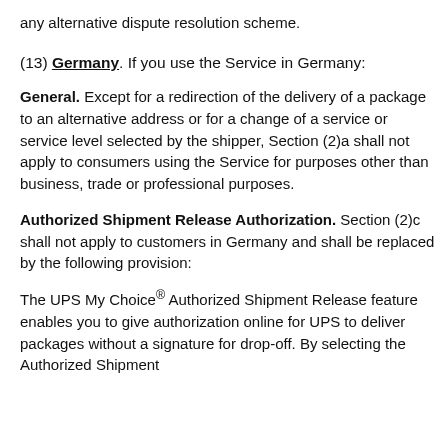any alternative dispute resolution scheme.
(13) Germany. If you use the Service in Germany:
General. Except for a redirection of the delivery of a package to an alternative address or for a change of a service or service level selected by the shipper, Section (2)a shall not apply to consumers using the Service for purposes other than business, trade or professional purposes.
Authorized Shipment Release Authorization. Section (2)c shall not apply to customers in Germany and shall be replaced by the following provision:
The UPS My Choice® Authorized Shipment Release feature enables you to give authorization online for UPS to deliver packages without a signature for drop-off. By selecting the Authorized Shipment...